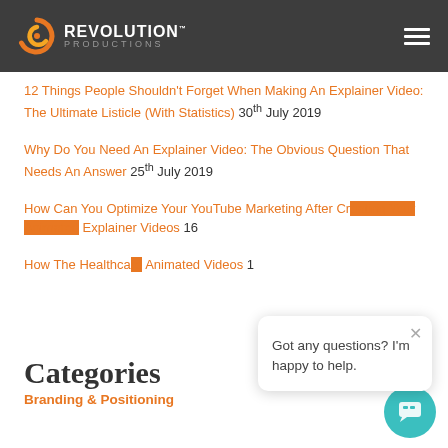Revolution Productions
12 Things People Shouldn't Forget When Making An Explainer Video: The Ultimate Listicle (With Statistics) 30th July 2019
Why Do You Need An Explainer Video: The Obvious Question That Needs An Answer 25th July 2019
How Can You Optimize Your YouTube Marketing After Creating Your Animated Explainer Videos 16...
How The Healthcare... Animated Videos 1...
Got any questions? I'm happy to help.
Categories
Branding & Positioning